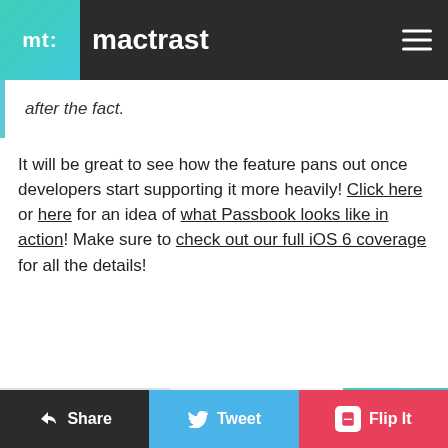mt: mactrast
after the fact.
It will be great to see how the feature pans out once developers start supporting it more heavily! Click here or here for an idea of what Passbook looks like in action! Make sure to check out our full iOS 6 coverage for all the details!
Next Up
There's a New iPhone …
Next
Topics
iOS 6
Passbook
Share   Share   Tweet   Flip It